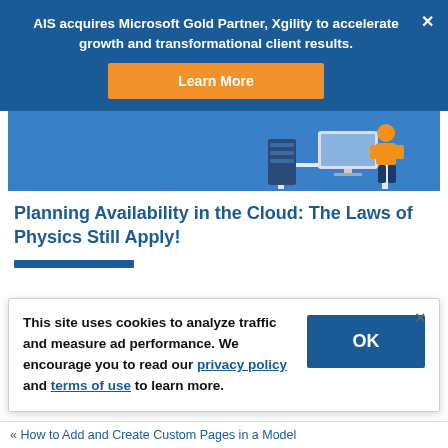AIS acquires Microsoft Gold Partner, Xgility to accelerate growth and transformational client results.
Learn More
[Figure (illustration): Blue banner hero image with illustration of person working at computer desk with server equipment]
Planning Availability in the Cloud: The Laws of Physics Still Apply!
This site uses cookies to analyze traffic and measure ad performance. We encourage you to read our privacy policy and terms of use to learn more.
OK
« How to Add and Create Custom Pages in a Model